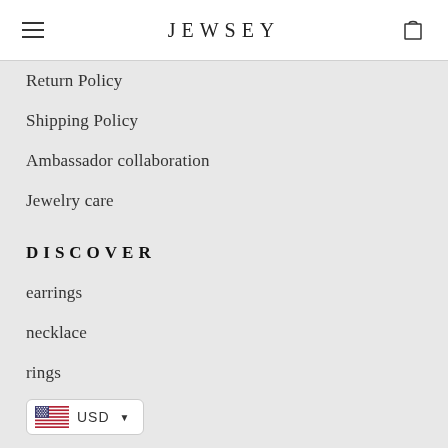JEWSEY
Return Policy
Shipping Policy
Ambassador collaboration
Jewelry care
DISCOVER
earrings
necklace
rings
[Figure (other): Currency selector showing US flag and USD with dropdown arrow]
jewelry boxes